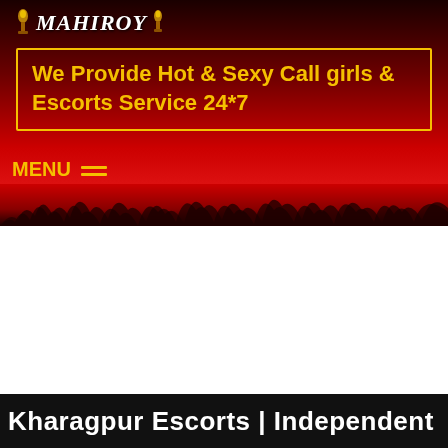[Figure (logo): Mahiroy logo with decorative golden torch/figure icons flanking the text]
We Provide Hot & Sexy Call girls & Escorts Service 24*7
MENU ≡
[Figure (illustration): Flame/fire strip decorative divider at bottom of header]
Kharagpur Escorts | Independent